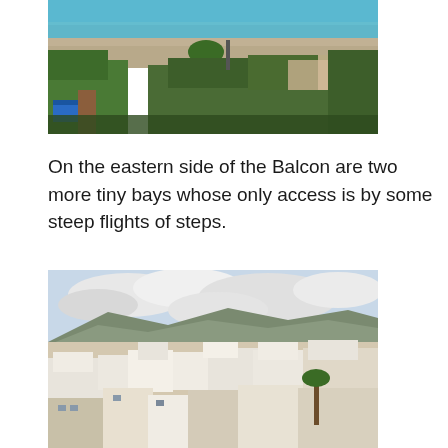[Figure (photo): Aerial view of a small beach cove with turquoise water, sandy shore, palm trees, green vegetation, and a blue tent visible. Wooden walkway and beach facilities visible.]
On the eastern side of the Balcon are two more tiny bays whose only access is by some steep flights of steps.
[Figure (photo): Panoramic view of a white-washed Spanish coastal town with dense residential buildings, winding roads, palm trees, and mountains with cloudy sky in the background.]